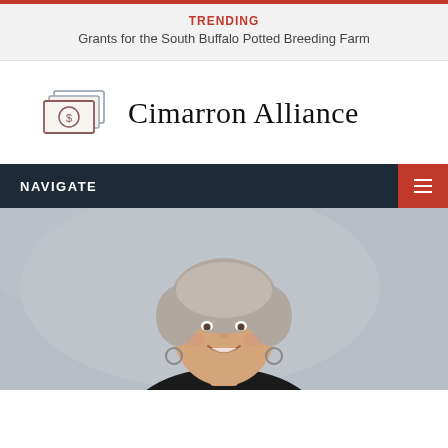TRENDING
Grants for the South Buffalo Potted Breeding Farm
[Figure (logo): Cimarron Alliance logo with money/bills icon and text 'Cimarron Alliance']
NAVIGATE
[Figure (photo): Portrait photo of an older woman with short gray hair, smiling, wearing a dark top and hoop earrings, against a gray background]